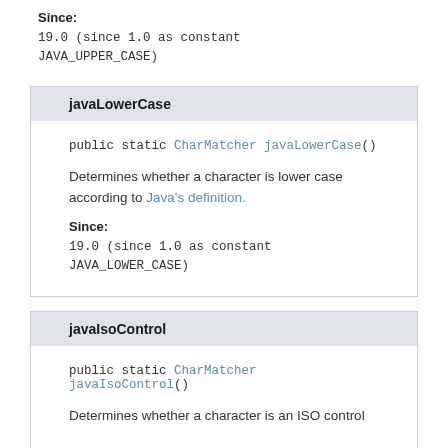Since:
19.0 (since 1.0 as constant JAVA_UPPER_CASE)
javaLowerCase
public static CharMatcher javaLowerCase()
Determines whether a character is lower case according to Java's definition.
Since:
19.0 (since 1.0 as constant JAVA_LOWER_CASE)
javaIsoControl
public static CharMatcher javaIsoControl()
Determines whether a character is an ISO control